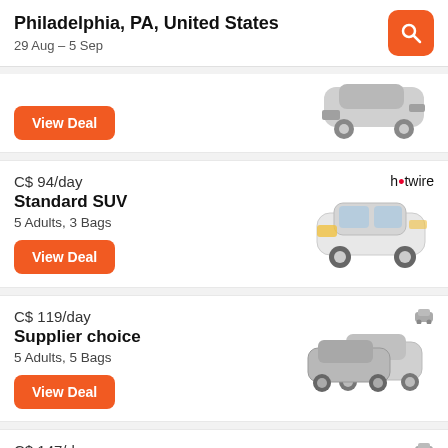Philadelphia, PA, United States
29 Aug – 5 Sep
C$ 94/day
Standard SUV
5 Adults, 3 Bags
View Deal
[hotwire logo]
C$ 119/day
Supplier choice
5 Adults, 5 Bags
View Deal
C$ 147/day
Open-air all-terrain
5 Adults, 2 Bags